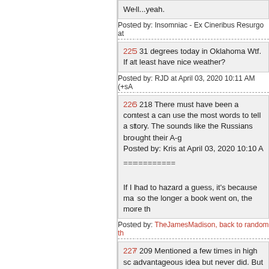Well...yeah.
Posted by: Insomniac - Ex Cineribus Resurgo at
225 31 degrees today in Oklahoma Wtf. If at least have nice weather?
Posted by: RJD at April 03, 2020 10:11 AM (+sA
226 218 There must have been a contest a can use the most words to tell a story. The sounds like the Russians brought their A-g Posted by: Kris at April 03, 2020 10:10 A
===========
If I had to hazard a guess, it's because ma so the longer a book went on, the more th
Posted by: TheJamesMadison, back to random th
227 209 Mentioned a few times in high sc advantageous idea but never did. But sinc Dostoyefsky often pretty sure I can too. Posted by: Skip at April 03, 2020 10:08 A